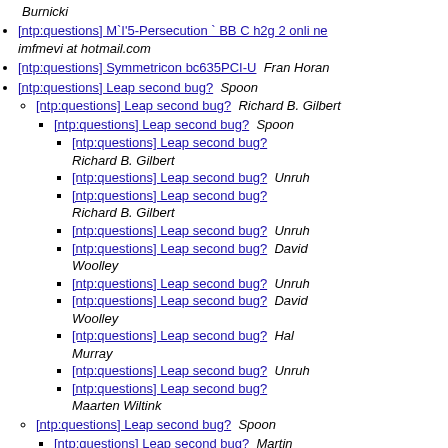Burnicki
[ntp:questions] M`I'5-Persecution ` BB C h2g 2 onli ne  imfmevi at hotmail.com
[ntp:questions] Symmetricon bc635PCI-U  Fran Horan
[ntp:questions] Leap second bug?  Spoon
[ntp:questions] Leap second bug?  Richard B. Gilbert
[ntp:questions] Leap second bug?  Spoon
[ntp:questions] Leap second bug?  Richard B. Gilbert
[ntp:questions] Leap second bug?  Unruh
[ntp:questions] Leap second bug?  Richard B. Gilbert
[ntp:questions] Leap second bug?  Unruh
[ntp:questions] Leap second bug?  David Woolley
[ntp:questions] Leap second bug?  Unruh
[ntp:questions] Leap second bug?  David Woolley
[ntp:questions] Leap second bug?  Hal Murray
[ntp:questions] Leap second bug?  Unruh
[ntp:questions] Leap second bug?  Maarten Wiltink
[ntp:questions] Leap second bug?  Spoon
[ntp:questions] Leap second bug?  Martin